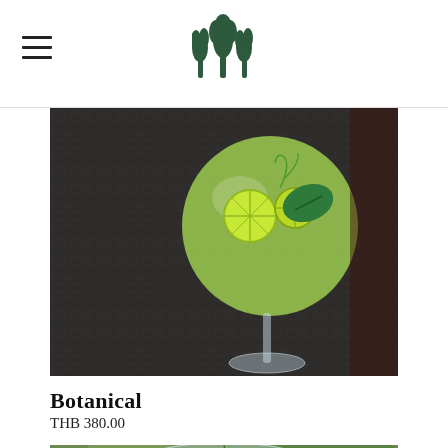Navigation header with hamburger menu and tree logo
[Figure (photo): A green cocktail in a large balloon wine glass with lime slices and a green leaf garnish, sitting on a dark woven rattan table surface, photographed from above at an angle.]
Botanical
THB 380.00
[Figure (photo): A clear stemless glass partially visible at the bottom of the frame, with a curling green vine tendril, set against a blurred green garden background.]